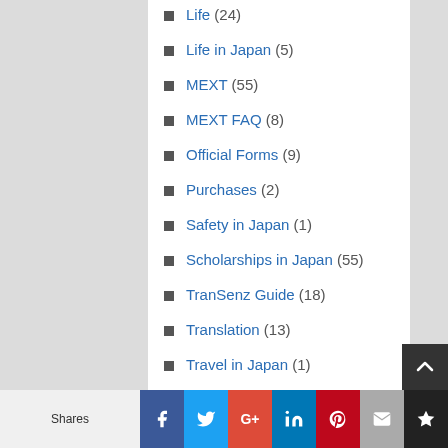Life (24)
Life in Japan (5)
MEXT (55)
MEXT FAQ (8)
Official Forms (9)
Purchases (2)
Safety in Japan (1)
Scholarships in Japan (55)
TranSenz Guide (18)
Translation (13)
Travel in Japan (1)
Videos (1)
奨学金 (10)
Shares | Facebook | Twitter | Google+ | LinkedIn | Pinterest | Email | Crown